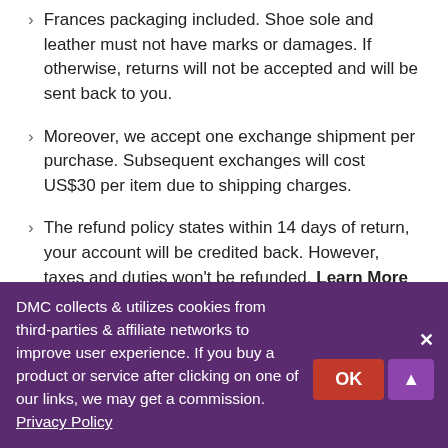Frances packaging included. Shoe sole and leather must not have marks or damages. If otherwise, returns will not be accepted and will be sent back to you.
Moreover, we accept one exchange shipment per purchase. Subsequent exchanges will cost US$30 per item due to shipping charges.
The refund policy states within 14 days of return, your account will be credited back. However, taxes and duties won't be refunded. Learn More
Contact Dear Frances
The customer support team is available to help you on Facebook live messenger & live chat.
DMC collects & utilizes cookies from third-parties & affiliate networks to improve user experience. If you buy a product or service after clicking on one of our links, we may get a commission. Privacy Policy